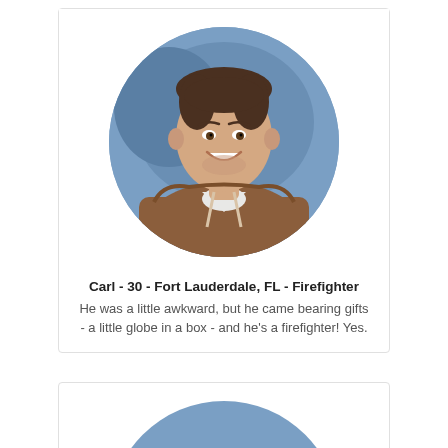[Figure (photo): Circular portrait photo of Carl, a man in his 30s wearing a brown hoodie, smiling, against a blue background]
Carl - 30 - Fort Lauderdale, FL - Firefighter
He was a little awkward, but he came bearing gifts - a little globe in a box - and he's a firefighter!  Yes.
[Figure (photo): Circular portrait photo of another person, partially visible, with brown hair, against a blue background]